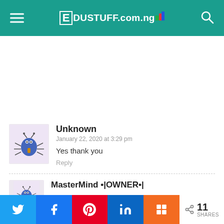EDUSTUFF.com.ng
Unknown
January 22, 2020 at 3:29 pm
Yes thank you
Reply
MasterMind •|OWNER•|